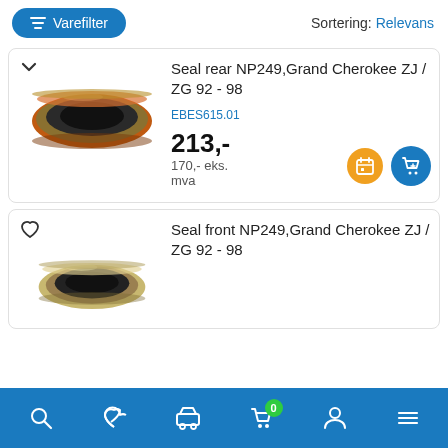Varefilter   Sortering: Relevans
[Figure (photo): Seal ring / shaft seal, rear, for NP249 transfer case. Orange/brown rubber outer ring with black inner metal ring. Viewed from slightly above.]
Seal rear NP249,Grand Cherokee ZJ / ZG 92 - 98
EBES615.01
213,- 170,- eks. mva
[Figure (photo): Seal ring / shaft seal, front, for NP249 transfer case. Beige/cream outer ring with black inner metal ring. Viewed from slightly above, partially visible at bottom of card.]
Seal front NP249,Grand Cherokee ZJ / ZG 92 - 98
Search  Wishlist  Garage  Cart (0)  Account  Menu